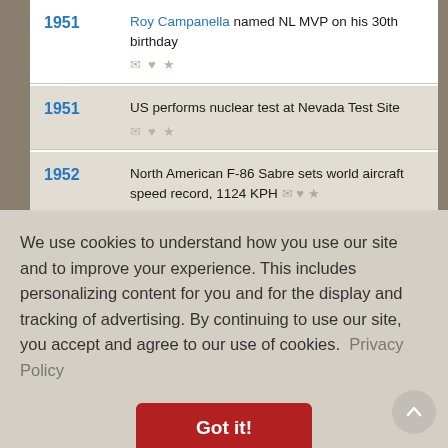1951 — Roy Campanella named NL MVP on his 30th birthday
1951 — US performs nuclear test at Nevada Test Site
1952 — North American F-86 Sabre sets world aircraft speed record, 1124 KPH
We use cookies to understand how you use our site and to improve your experience. This includes personalizing content for you and for the display and tracking of advertising. By continuing to use our site, you accept and agree to our use of cookies. Privacy Policy
Got it!